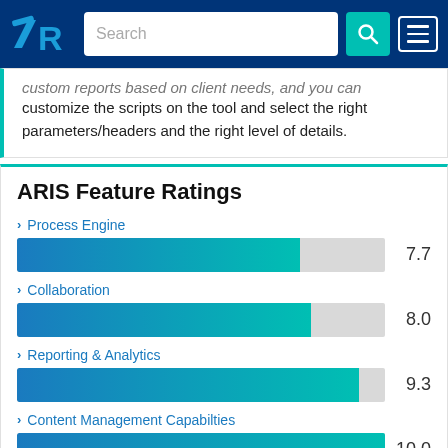TrustRadius – Search navigation bar
custom reports based on client needs, and you can customize the scripts on the tool and select the right parameters/headers and the right level of details.
ARIS Feature Ratings
[Figure (bar-chart): ARIS Feature Ratings]